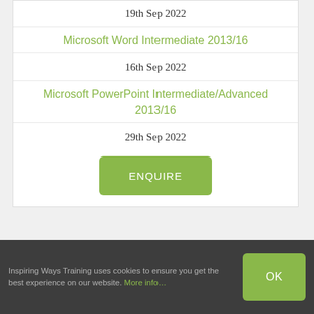19th Sep 2022
Microsoft Word Intermediate 2013/16
16th Sep 2022
Microsoft PowerPoint Intermediate/Advanced 2013/16
29th Sep 2022
ENQUIRE
Inspiring Ways Training uses cookies to ensure you get the best experience on our website. More info…
OK